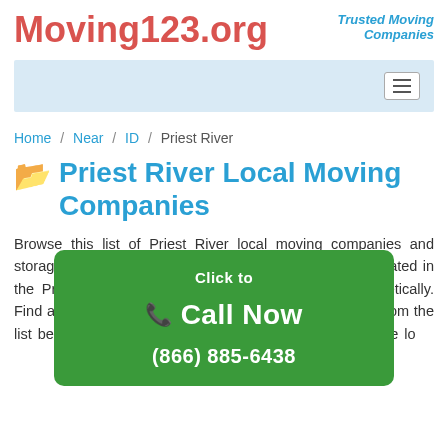Moving123.org — Trusted Moving Companies
[Figure (screenshot): Navigation bar with hamburger menu icon on light blue background]
Home / Near / ID / Priest River
Priest River Local Moving Companies
Browse this list of Priest River local moving companies and storage services near Priest River Idaho. There are 4 located in the Priest River, area and listed by their name alphabetically. Find a Moving Professional, packer or storage near you from the list below. Click on their name for more information of the local moving company, the type of services offered, c...
[Figure (infographic): Green call-to-action button overlay: 'Click to Call Now (866) 885-6438']
Call us to...